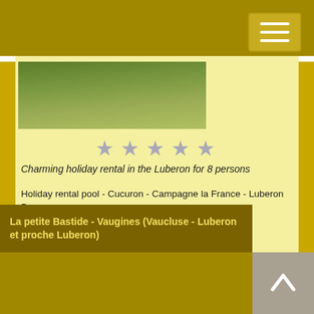[Figure (photo): Green grass field photo at top of listing card]
[Figure (other): 5 grey/silver star rating icons]
Charming holiday rental in the Luberon for 8 persons
Holiday rental pool - Cucuron - Campagne la France - Luberon Provence
from 1.500 € to 3.500 € per week (depend. season)
for 6/9 person(s)
Check this Holiday rental in Luberon et proche Luberon
Locate this Holiday rental
Check Availability from Campagne la France
Submit a review of this Holiday rental
La petite Bastide - Vaugines (Vaucluse - Luberon et proche Luberon)